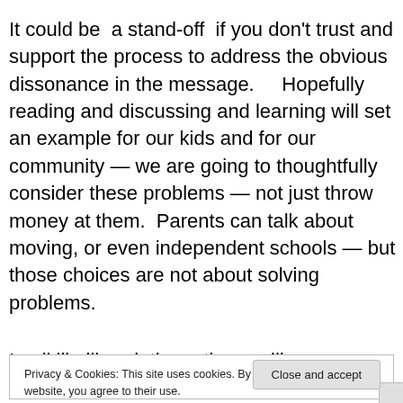It could be a stand-off if you don't trust and support the process to address the obvious dissonance in the message.    Hopefully reading and discussing and learning will set an example for our kids and for our community — we are going to thoughtfully consider these problems — not just throw money at them.  Parents can talk about moving, or even independent schools — but those choices are not about solving problems.
In all likelihood, these times will cause a market
Privacy & Cookies: This site uses cookies. By continuing to use this website, you agree to their use.
To find out more, including how to control cookies, see here: Cookie Policy